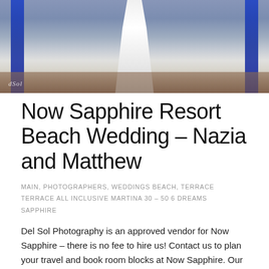[Figure (photo): Wedding photo showing a bride in a white dress standing in a decorated venue with blue sashes on either side. Watermark 'dSol' visible in lower left of photo.]
Now Sapphire Resort Beach Wedding – Nazia and Matthew
MAIN, PHOTOGRAPHERS, WEDDINGS BEACH, TERRACE TERRACE ALL INCLUSIVE MARTINA 30 – 50 6 DREAMS SAPPHIRE
Del Sol Photography is an approved vendor for Now Sapphire – there is no fee to hire us! Contact us to plan your travel and book room blocks at Now Sapphire. Our sister company Del Sol Travels is a full-service travel agency that specializes...